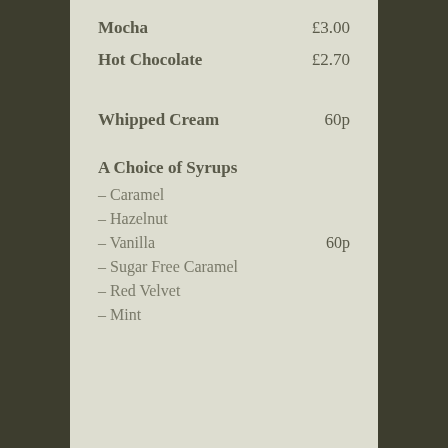Mocha £3.00
Hot Chocolate £2.70
Whipped Cream 60p
A Choice of Syrups
– Caramel
– Hazelnut
– Vanilla 60p
– Sugar Free Caramel
– Red Velvet
– Mint